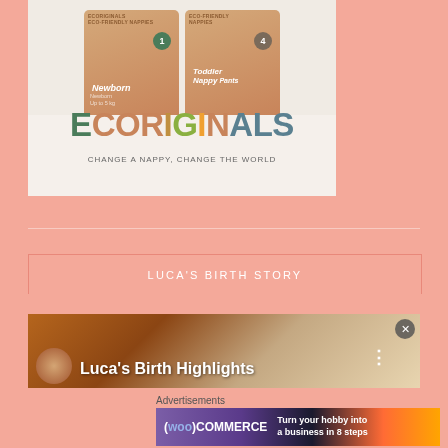[Figure (photo): Ecoriginals eco-friendly nappies product packages for Newborn (size 1) and Toddler Nappy Pants (size 4) on cream/white background, with ECORIGINALS logo in multicolor green/yellow/orange text and tagline CHANGE A NAPPY, CHANGE THE WORLD]
LUCA'S BIRTH STORY
[Figure (screenshot): Video thumbnail showing Luca's Birth Highlights with a person visible in the background, dots menu icon and close X button]
Advertisements
[Figure (illustration): WooCommerce advertisement banner: Turn your hobby into a business in 8 steps]